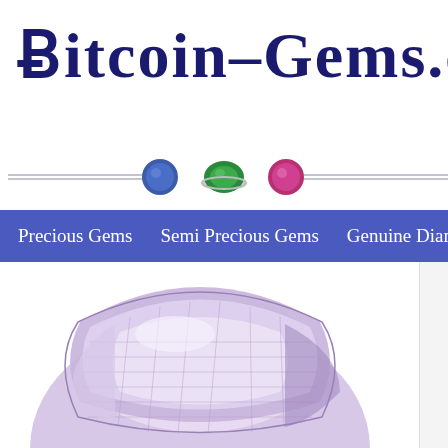Bitcoin-Gems.com
[Figure (illustration): Bitcoin-Gems.com website header with logo text in dark navy blue serif font, horizontal divider lines with three gemstone icons (blue sapphire, green emerald in ring setting, pink ruby), navigation bar in blue/purple with menu items: Precious Gems, Semi Precious Gems, Genuine Diamonds, and a large faceted light purple amethyst gemstone photograph]
Precious Gems
Semi Precious Gems
Genuine Diam...